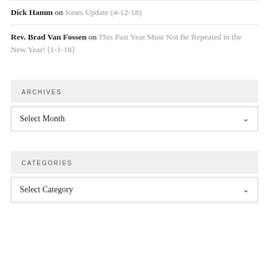Dick Hamm on Jones Update (4-12-18)
Rev. Brad Van Fossen on This Past Year Must Not Be Repeated in the New Year! [1-1-18]
ARCHIVES
Select Month
CATEGORIES
Select Category